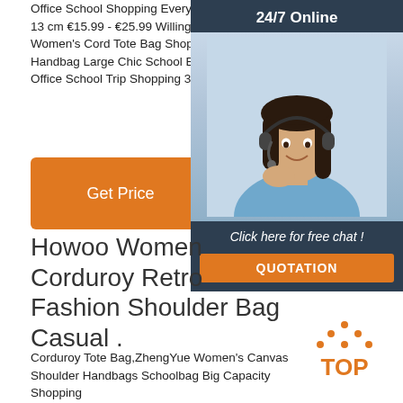Office School Shopping Everyday 33 x 28 x 13 cm €15.99 - €25.99 WillingFun Cord Bag Women's Cord Tote Bag Shopper Casual Handbag Large Chic School Backpack for Office School Trip Shopping 3... 29 cm
[Figure (infographic): 24/7 Online chat widget with photo of woman wearing headset and buttons for 'Click here for free chat!' and 'QUOTATION']
Get Price
Howoo Women Corduroy Retro Fashion Shoulder Bag Casual .
[Figure (logo): TOP badge logo with orange dots forming a roof/triangle shape above bold orange TOP text]
Corduroy Tote Bag,ZhengYue Women's Canvas Shoulder Handbags Schoolbag Big Capacity Shopping